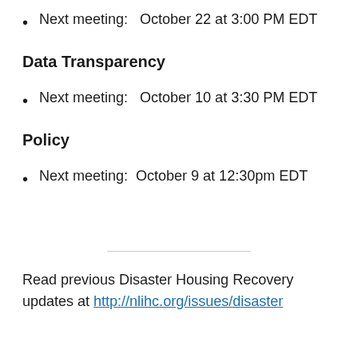Next meeting:   October 22 at 3:00 PM EDT
Data Transparency
Next meeting:   October 10 at 3:30 PM EDT
Policy
Next meeting:  October 9 at 12:30pm EDT
Read previous Disaster Housing Recovery updates at http://nlihc.org/issues/disaster